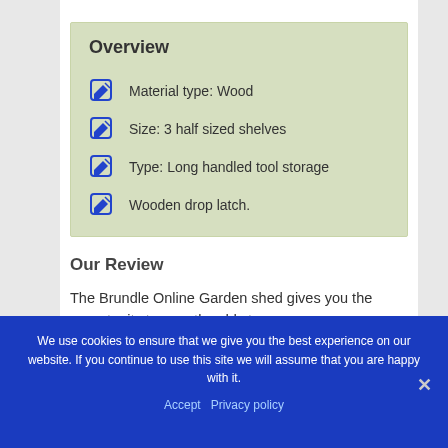Overview
Material type: Wood
Size: 3 half sized shelves
Type: Long handled tool storage
Wooden drop latch.
Our Review
The Brundle Online Garden shed gives you the opportunity to smartly add storage
We use cookies to ensure that we give you the best experience on our website. If you continue to use this site we will assume that you are happy with it.
Accept   Privacy policy